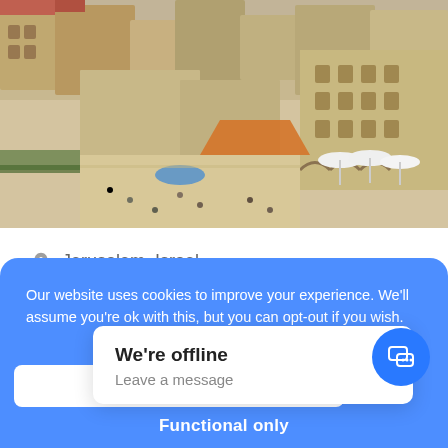[Figure (photo): Aerial view of Jerusalem old city market square with stone buildings, outdoor umbrellas, and pedestrians]
Jerusalem, Israel
Our website uses cookies to improve your experience. We'll assume you're ok with this, but you can opt-out if you wish.
We're offline
Leave a message
Functional only